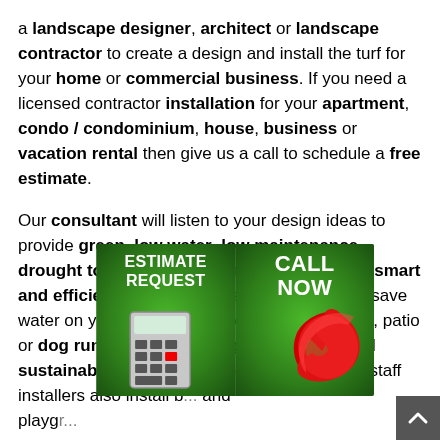a landscape designer, architect or landscape contractor to create a design and install the turf for your home or commercial business. If you need a licensed contractor installation for your apartment, condo / condominium, house, business or vacation rental then give us a call to schedule a free estimate. Our consultant will listen to your design ideas to provide green, low water, low maintenance, drought tolerant, water friendly, water wise, smart and efficient landscape design ideas to help save water on your front yard, backyard, side yard, patio or dog run. We try to use organic, natural and sustainable products whenever possible. Our staff installers also install b... and playground... Our co... reviews
[Figure (infographic): Two green grass-background buttons: left button says ESTIMATE REQUEST with a calculator icon, right button says CALL NOW with a red phone handset icon.]